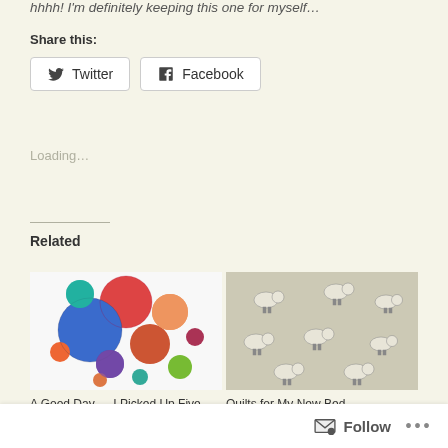hhhh! I'm definitely keeping this one for myself...
Share this:
Twitter  Facebook
Loading...
Related
[Figure (photo): Colorful circular fabric or quilt pieces arranged on white background]
[Figure (photo): Beige/grey fabric with small sheep print pattern]
A Good Day — I Picked Up Five Quilts from My Long Arm
Quilts for My New Bed
April 28, 2022
Follow ...